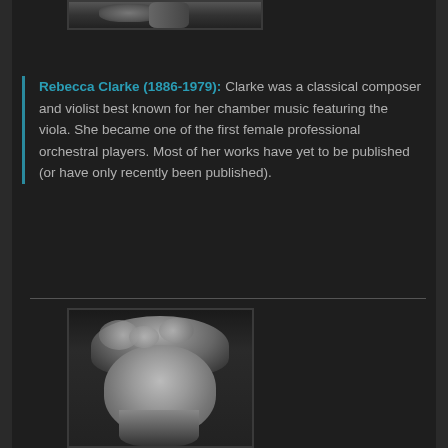[Figure (photo): Black and white photograph, partially visible at top of page, cropped]
Rebecca Clarke (1886-1979): Clarke was a classical composer and violist best known for her chamber music featuring the viola. She became one of the first female professional orchestral players. Most of her works have yet to be published (or have only recently been published).
[Figure (photo): Black and white portrait photograph of a woman with curly hair, looking slightly downward]